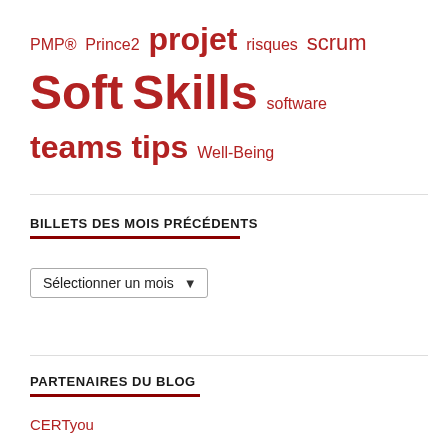PMP® Prince2 projet risques scrum Soft Skills software teams tips Well-Being
BILLETS DES MOIS PRÉCÉDENTS
Sélectionner un mois
PARTENAIRES DU BLOG
CERTyou